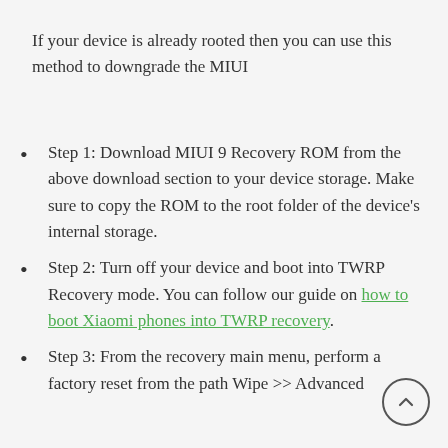If your device is already rooted then you can use this method to downgrade the MIUI
Step 1: Download MIUI 9 Recovery ROM from the above download section to your device storage. Make sure to copy the ROM to the root folder of the device's internal storage.
Step 2: Turn off your device and boot into TWRP Recovery mode. You can follow our guide on how to boot Xiaomi phones into TWRP recovery.
Step 3: From the recovery main menu, perform a factory reset from the path Wipe >> Advanced